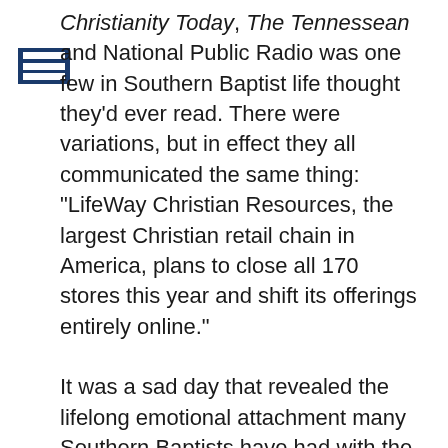Christianity Today, The Tennessean and National Public Radio was one few in Southern Baptist life thought they'd ever read. There were variations, but in effect they all communicated the same thing: “LifeWay Christian Resources, the largest Christian retail chain in America, plans to close all 170 stores this year and shift its offerings entirely online.”

It was a sad day that revealed the lifelong emotional attachment many Southern Baptists have had with the bookstore. Frankly, generations of us have never known a world without a Baptist Book Store or a Lifeway Christian Store. Many expressed their anger with statements about how the bookstore was more than just books. It was the people who